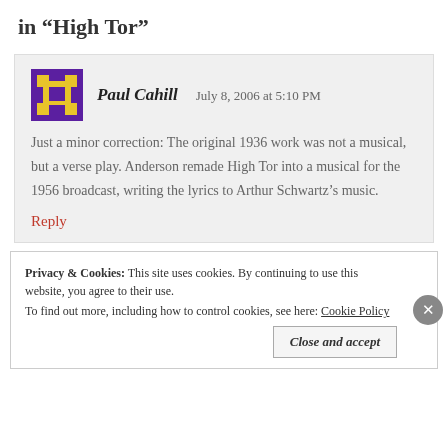in “High Tor”
Just a minor correction: The original 1936 work was not a musical, but a verse play. Anderson remade High Tor into a musical for the 1956 broadcast, writing the lyrics to Arthur Schwartz’s music.
Reply
Privacy & Cookies: This site uses cookies. By continuing to use this website, you agree to their use. To find out more, including how to control cookies, see here: Cookie Policy
Close and accept